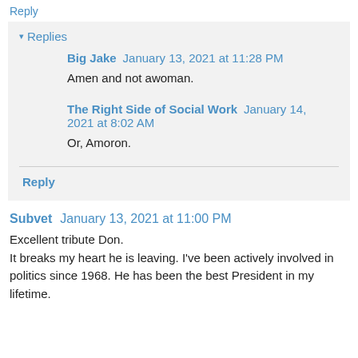Reply
▾ Replies
Big Jake  January 13, 2021 at 11:28 PM
Amen and not awoman.
The Right Side of Social Work  January 14, 2021 at 8:02 AM
Or, Amoron.
Reply
Subvet  January 13, 2021 at 11:00 PM
Excellent tribute Don.
It breaks my heart he is leaving. I've been actively involved in politics since 1968. He has been the best President in my lifetime.